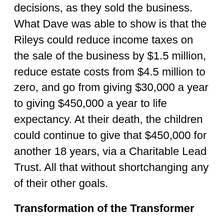decisions, as they sold the business. What Dave was able to show is that the Rileys could reduce income taxes on the sale of the business by $1.5 million, reduce estate costs from $4.5 million to zero, and go from giving $30,000 a year to giving $450,000 a year to life expectancy. At their death, the children could continue to give that $450,000 for another 18 years, via a Charitable Lead Trust. All that without shortchanging any of their other goals.
Transformation of the Transformer
Now, here is the part that made me see the case with new eyes. I asked ten field leaders for a one-page reaction to it. I also presented it to estate planning societies, financial planning